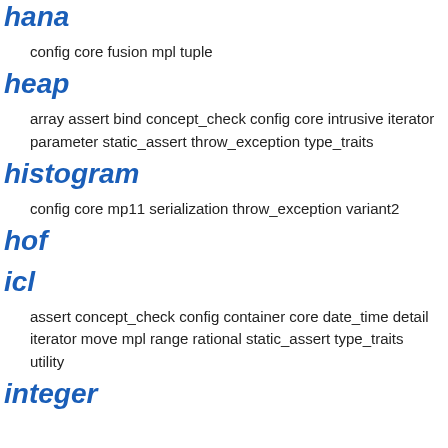hana
config core fusion mpl tuple
heap
array assert bind concept_check config core intrusive iterator parameter static_assert throw_exception type_traits
histogram
config core mp11 serialization throw_exception variant2
hof
icl
assert concept_check config container core date_time detail iterator move mpl range rational static_assert type_traits utility
integer